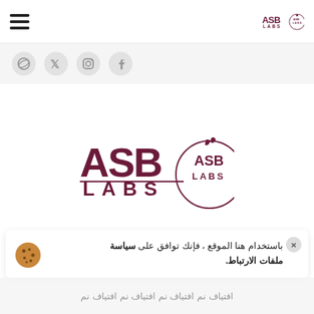ASB LABS header with hamburger menu and logo
[Figure (illustration): Four social media icons in circles: Dribbble, Twitter, Instagram, Facebook on a light grey bar]
[Figure (logo): ASB LABS logo — dark maroon text 'ASB' large, 'LABS' below, with circular badge containing leaf/drop ornament and 'ASB LABS' text]
باستخدام هنا الموقع ، فإنك توافق على سياسة ملفات الارتباط.
افتياف نم افتياف نم افتياف نم افتياف نم